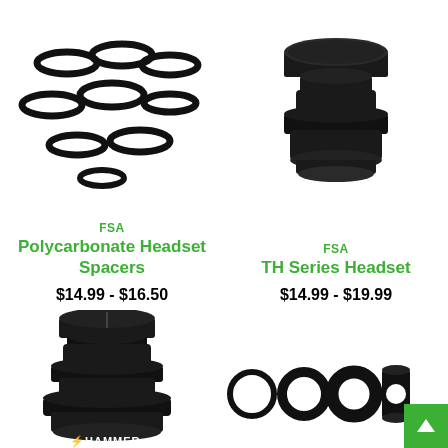[Figure (photo): FSA Polycarbonate Headset Spacers – multiple black ring spacers scattered on white background]
FSA
Polycarbonate Headset Spacers
$14.99 - $16.50
[Figure (photo): FSA TH Series Headset – black threaded headset component on white background]
FSA
TH Series Headset
$14.99 - $19.99
[Figure (photo): Hammer branded headset – large black threadless headset component with Hammer logo on white background]
[Figure (photo): Four black headset spacers of varying sizes on white background]
[Figure (illustration): Back to top arrow button in green]